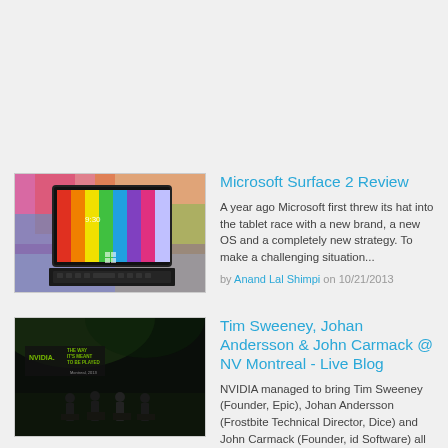[Figure (photo): Microsoft Surface 2 tablet with colorful wallpaper and keyboard on colorful background]
Microsoft Surface 2 Review
A year ago Microsoft first threw its hat into the tablet race with a new brand, a new OS and a completely new strategy. To make a challenging situation...
by Anand Lal Shimpi on 10/21/2013
[Figure (photo): NVIDIA event with Tim Sweeney, Johan Andersson and John Carmack on stage, NVIDIA logo and 'The Way It's Meant To Be Played' text visible]
Tim Sweeney, Johan Andersson & John Carmack @ NV Montreal - Live Blog
NVIDIA managed to bring Tim Sweeney (Founder, Epic), Johan Andersson (Frostbite Technical Director, Dice) and John Carmack (Founder, id Software) all up to Montreal to share their thoughts on...